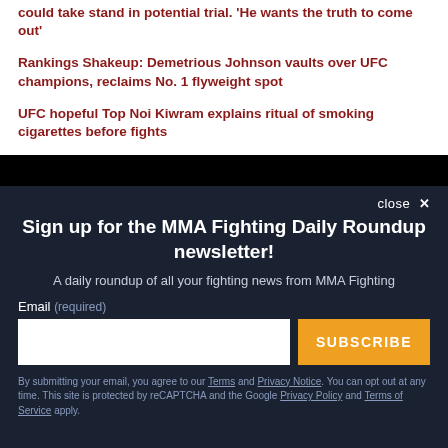could take stand in potential trial. 'He wants the truth to come out'
Rankings Shakeup: Demetrious Johnson vaults over UFC champions, reclaims No. 1 flyweight spot
UFC hopeful Top Noi Kiwram explains ritual of smoking cigarettes before fights
[Figure (other): Black banner/video embed area]
Sign up for the MMA Fighting Daily Roundup newsletter!
A daily roundup of all your fighting news from MMA Fighting
Email (required)
SUBSCRIBE
By submitting your email, you agree to our Terms and Privacy Notice. You can opt out at any time. This site is protected by reCAPTCHA and the Google Privacy Policy and Terms of Service apply.